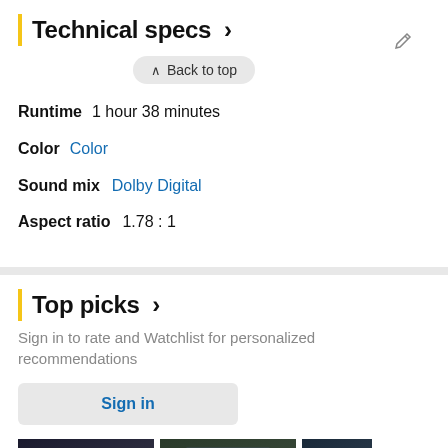Technical specs >
^ Back to top
Runtime   1 hour 38 minutes
Color   Color
Sound mix   Dolby Digital
Aspect ratio   1.78 : 1
Top picks >
Sign in to rate and Watchlist for personalized recommendations
Sign in
[Figure (photo): Three movie thumbnail images with plus icons in the bottom section]